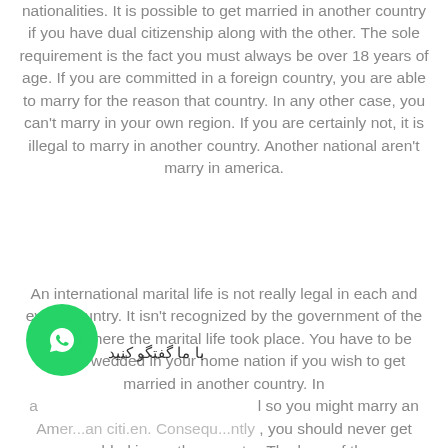nationalities. It is possible to get married in another country if you have dual citizenship along with the other. The sole requirement is the fact you must always be over 18 years of age. If you are committed in a foreign country, you are able to marry for the reason that country. In any other case, you can't marry in your own region. If you are certainly not, it is illegal to marry in another country. Another national aren't marry in america.
An international marital life is not really legal in each and every country. It isn't recognized by the government of the nation where the marital life took place. You have to be legally wedded in your home nation if you wish to get married in another country. In [obscured] so you might marry an American citizen. Consequently, you should never get wedded in another country. The laws of the
[Figure (logo): WhatsApp chat bubble icon in green circle with Persian label 'با ما گفتگو کنید']